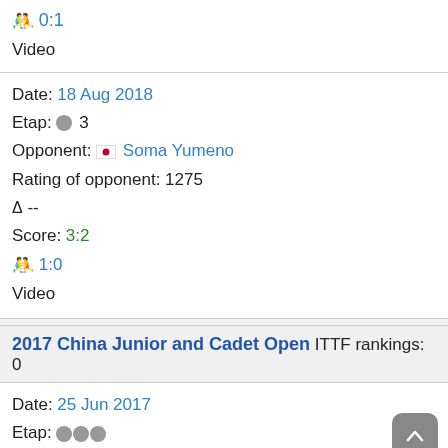🤼 0:1
Video
Date: 18 Aug 2018
Etap: 🥈 3
Opponent: 🇯🇵 Soma Yumeno
Rating of opponent: 1275
Δ --
Score: 3:2
🤼 1:0
Video
2017 China Junior and Cadet Open ITTF rankings: 0
Date: 25 Jun 2017
Etap: 🥈🥈🥈
+ 🇰🇿 Kharki Iskender --
Opponent: 🇹🇭 Mekamporn Nawin
🇹🇭 Sanglertsilpachai Thyme
Rating of opponent: 571